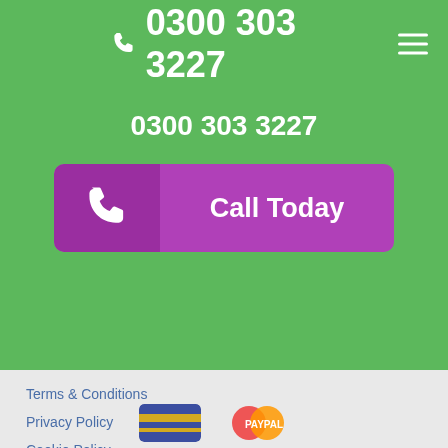0300 303 3227
0300 303 3227
Call Today
Terms & Conditions
Privacy Policy
Cookie Policy
Company Policies
Flourish Education
1102 Bristol Road South,
Northfield,
Birmingham
B31 2RE
Call: 0300 303 3227
[Figure (logo): Payment provider logos at bottom of page]